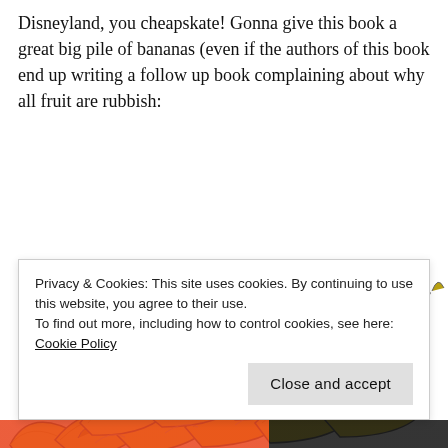Disneyland, you cheapskate! Gonna give this book a great big pile of bananas (even if the authors of this book end up writing a follow up book complaining about why all fruit are rubbish:
[Figure (illustration): A large illustrated pile of yellow bananas stacked in a pyramid shape, cartoon/sketch style with yellow and white coloring and black outlines.]
Privacy & Cookies: This site uses cookies. By continuing to use this website, you agree to their use.
To find out more, including how to control cookies, see here:
Cookie Policy
Close and accept